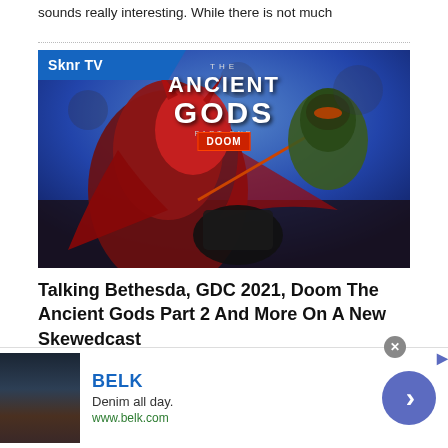sounds really interesting. While there is not much
[Figure (illustration): Thumbnail image for a video about Doom Eternal: The Ancient Gods Part One, featuring fantasy battle scene with demonic figures. Blue 'Sknr TV' badge in top left corner. Title text 'THE ANCIENT GODS DOOM' at top center.]
Talking Bethesda, GDC 2021, Doom The Ancient Gods Part 2 And More On A New Skewedcast
[Figure (advertisement): BELK advertisement banner: shows clothing/lifestyle images on left, brand name BELK in blue, tagline 'Denim all day.', url www.belk.com, blue circular arrow button on right, close X button and menu icon visible.]